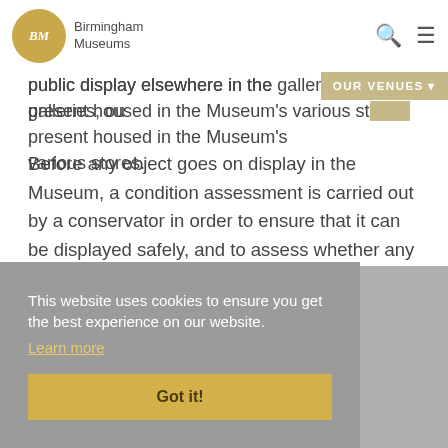Birmingham Museums
public display elsewhere in the galleries, ou present housed in the Museum's various stores.
Before any object goes on display in the Museum, a condition assessment is carried out by a conservator in order to ensure that it can be displayed safely, and to assess whether any interventive conservation treatment is required.
This website uses cookies to ensure you get the best experience on our website. Learn more Got it!